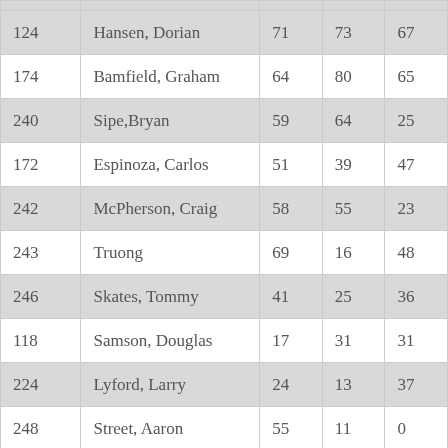| 124 | Hansen, Dorian | 71 | 73 | 67 |
| 174 | Bamfield, Graham | 64 | 80 | 65 |
| 240 | Sipe,Bryan | 59 | 64 | 25 |
| 172 | Espinoza, Carlos | 51 | 39 | 47 |
| 242 | McPherson, Craig | 58 | 55 | 23 |
| 243 | Truong | 69 | 16 | 48 |
| 246 | Skates, Tommy | 41 | 25 | 36 |
| 118 | Samson, Douglas | 17 | 31 | 31 |
| 224 | Lyford, Larry | 24 | 13 | 37 |
| 248 | Street, Aaron | 55 | 11 | 0 |